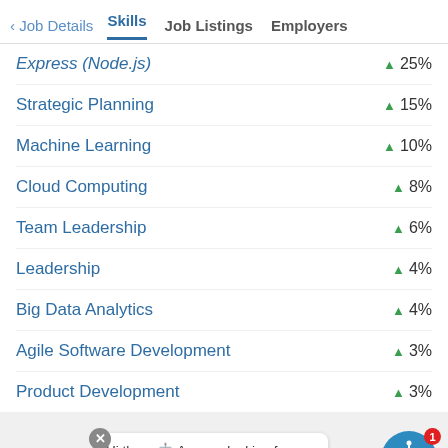< Job Details  Skills  Job Listings  Employers
Express (Node.js)  ▲ 25%
Strategic Planning  ▲ 15%
Machine Learning  ▲ 10%
Cloud Computing  ▲ 8%
Team Leadership  ▲ 6%
Leadership  ▲ 4%
Big Data Analytics  ▲ 4%
Agile Software Development  ▲ 3%
Product Development  ▲ 3%
Featured  Hi there 🤖 Are you looking for salary data?